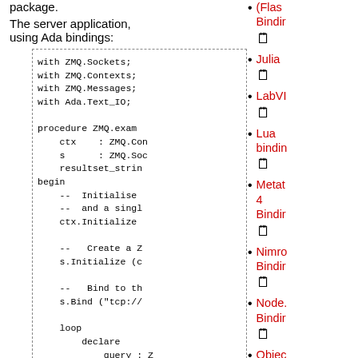package.
The server application, using Ada bindings:
with ZMQ.Sockets;
with ZMQ.Contexts;
with ZMQ.Messages;
with Ada.Text_IO;

procedure ZMQ.exam
    ctx    : ZMQ.Con
    s      : ZMQ.Soc
    resultset_strin
begin
    --  Initialise
    --  and a singl
    ctx.Initialize

    --   Create a Z
    s.Initialize (c

    --   Bind to th
    s.Bind ("tcp://

    loop
        declare
            query : Z
        begin
(Flash Bindir
Julia
LabVI
Lua bindin
Metat 4 Bindir
Nimro Bindir
Node. Bindir
Objec Caml bindin
Objec C
ooc Bindir